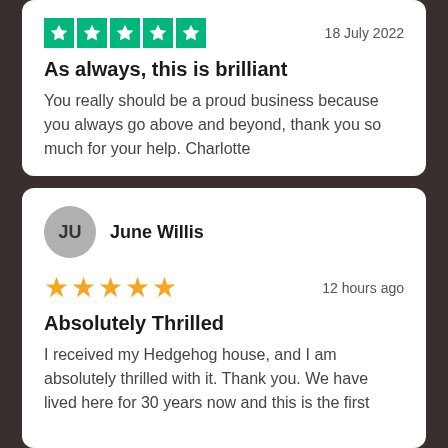[Figure (other): Trustpilot 5-star rating icons (green squares with white stars)]
18 July 2022
As always, this is brilliant
You really should be a proud business because you always go above and beyond, thank you so much for your help. Charlotte
JU June Willis
[Figure (other): 5 gold stars rating]
12 hours ago
Absolutely Thrilled
I received my Hedgehog house, and I am absolutely thrilled with it. Thank you. We have lived here for 30 years now and this is the first